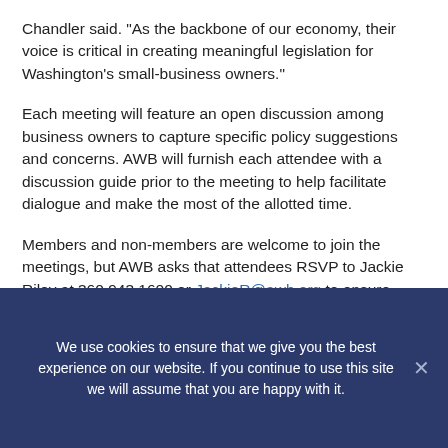Chandler said. “As the backbone of our economy, their voice is critical in creating meaningful legislation for Washington’s small-business owners.”
Each meeting will feature an open discussion among business owners to capture specific policy suggestions and concerns. AWB will furnish each attendee with a discussion guide prior to the meeting to help facilitate dialogue and make the most of the allotted time.
Members and non-members are welcome to join the meetings, but AWB asks that attendees RSVP to Jackie Riley at 360.943.1600 or JackieR@awb.org to ensure ample space and supplies.
We use cookies to ensure that we give you the best experience on our website. If you continue to use this site we will assume that you are happy with it.